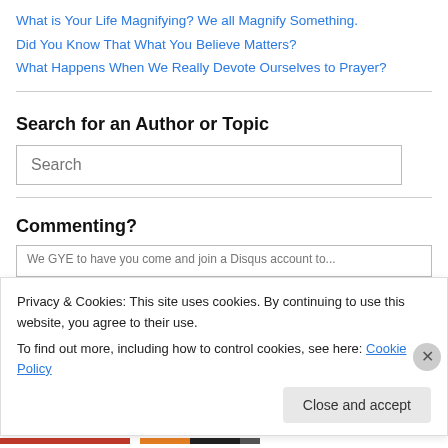What is Your Life Magnifying? We all Magnify Something.
Did You Know That What You Believe Matters?
What Happens When We Really Devote Ourselves to Prayer?
Search for an Author or Topic
Search
Commenting?
Privacy & Cookies: This site uses cookies. By continuing to use this website, you agree to their use.
To find out more, including how to control cookies, see here: Cookie Policy
Close and accept